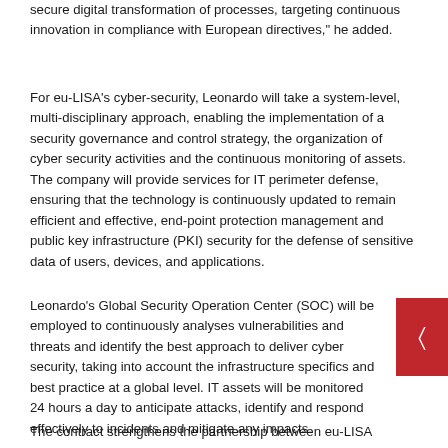secure digital transformation of processes, targeting continuous innovation in compliance with European directives," he added.
For eu-LISA's cyber-security, Leonardo will take a system-level, multi-disciplinary approach, enabling the implementation of a security governance and control strategy, the organization of cyber security activities and the continuous monitoring of assets. The company will provide services for IT perimeter defense, ensuring that the technology is continuously updated to remain efficient and effective, end-point protection management and public key infrastructure (PKI) security for the defense of sensitive data of users, devices, and applications.
Leonardo's Global Security Operation Center (SOC) will be employed to continuously analyses vulnerabilities and threats and identify the best approach to deliver cyber security, taking into account the infrastructure specifics and best practice at a global level. IT assets will be monitored 24 hours a day to anticipate attacks, identify and respond effectively to incidents and mitigate any impacts.
The contract strengthens the partnership between eu-LISA